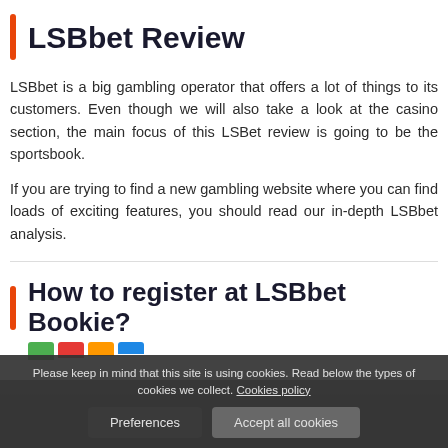LSBbet Review
LSBbet is a big gambling operator that offers a lot of things to its customers. Even though we will also take a look at the casino section, the main focus of this LSBet review is going to be the sportsbook.
If you are trying to find a new gambling website where you can find loads of exciting features, you should read our in-depth LSBbet analysis.
How to register at LSBbet Bookie?
Please keep in mind that this site is using cookies. Read below the types of cookies we collect. Cookies policy
Preferences    Accept all cookies